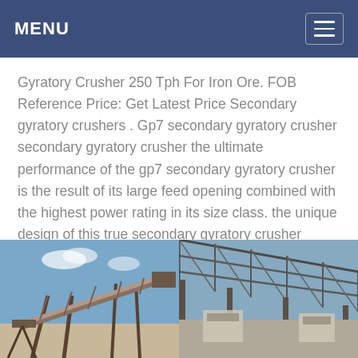MENU
Gyratory Crusher 250 Tph For Iron Ore. FOB Reference Price: Get Latest Price Secondary gyratory crushers . Gp7 secondary gyratory crusher secondary gyratory crusher the ultimate performance of the gp7 secondary gyratory crusher is the result of its large feed opening combined with the highest power rating in its size class. the unique design of this true secondary gyratory crusher enables the ...
[Figure (photo): Industrial conveyor belt structure and mining equipment – two side-by-side photos of industrial/mining site with conveyor belts and steel framework structures outdoors]